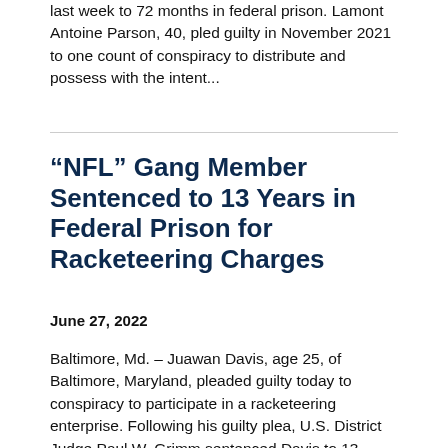last week to 72 months in federal prison. Lamont Antoine Parson, 40, pled guilty in November 2021 to one count of conspiracy to distribute and possess with the intent...
“NFL” Gang Member Sentenced to 13 Years in Federal Prison for Racketeering Charges
June 27, 2022
Baltimore, Md. – Juawan Davis, age 25, of Baltimore, Maryland, pleaded guilty today to conspiracy to participate in a racketeering enterprise. Following his guilty plea, U.S. District Judge Paul W. Grimm sentenced Davis to 13 years in federal prison, followed by 5 years of supervised release. The sentence was